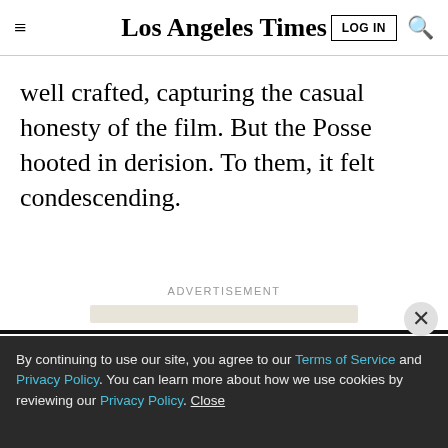Los Angeles Times
well crafted, capturing the casual honesty of the film. But the Posse hooted in derision. To them, it felt condescending.
ADVERTISEMENT
LIMITED-TIME OFFER
$1 for 6 Months
SUBSCRIBE NOW
By continuing to use our site, you agree to our Terms of Service and Privacy Policy. You can learn more about how we use cookies by reviewing our Privacy Policy. Close